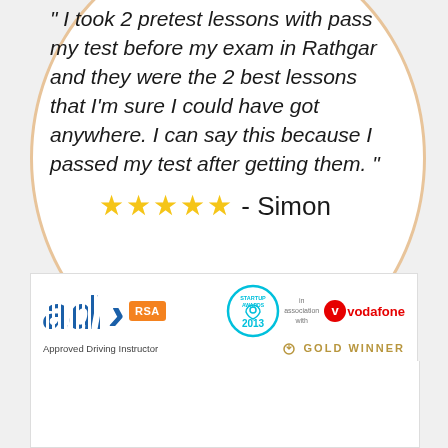" I took 2 pretest lessons with pass my test before my exam in Rathgar and they were the 2 best lessons that I'm sure I could have got anywhere. I can say this because I passed my test after getting them. "
★★★★★  - Simon
[Figure (logo): ADI Approved Driving Instructor logo with RSA badge, Startup Awards 2013 badge in association with Vodafone, Gold Winner badge]